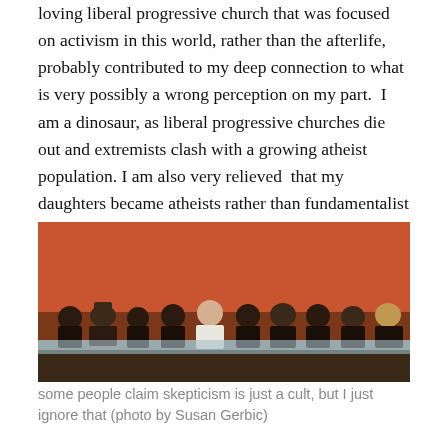loving liberal progressive church that was focused on activism in this world, rather than the afterlife, probably contributed to my deep connection to what is very possibly a wrong perception on my part.  I am a dinosaur, as liberal progressive churches die out and extremists clash with a growing atheist population. I am also very relieved  that my daughters became atheists rather than fundamentalist extremist believers of any sort.
[Figure (photo): A group of approximately 10 people seated at a table on a stage with an orange-red backdrop, appearing to be at a panel discussion or conference event.]
some people claim skepticism is just a cult, but I just ignore that (photo by Susan Gerbic)
But, that TAM was I was wondering if I should still be a skeptic.  I wanted to still be part of the skeptic community of course.  I never minded talking about or defending my